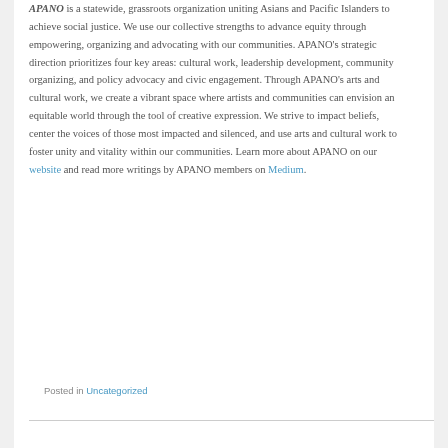APANO is a statewide, grassroots organization uniting Asians and Pacific Islanders to achieve social justice. We use our collective strengths to advance equity through empowering, organizing and advocating with our communities. APANO's strategic direction prioritizes four key areas: cultural work, leadership development, community organizing, and policy advocacy and civic engagement. Through APANO's arts and cultural work, we create a vibrant space where artists and communities can envision an equitable world through the tool of creative expression. We strive to impact beliefs, center the voices of those most impacted and silenced, and use arts and cultural work to foster unity and vitality within our communities. Learn more about APANO on our website and read more writings by APANO members on Medium.
Posted in Uncategorized